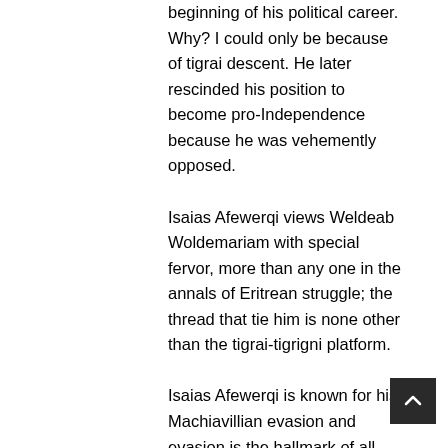beginning of his political career. Why? I could only be because of tigrai descent. He later rescinded his position to become pro-Independence because he was vehemently opposed. Isaias Afewerqi views Weldeab Woldemariam with special fervor, more than any one in the annals of Eritrean struggle; the thread that tie him is none other than the tigrai-tigrigni platform. Isaias Afewerqi is known for his Machiavillian evasion and evasion is the hallmark of all vicious people. Hitler evaded the halocaust of the jews by “Final Solution”; Moa, by “Re-education”